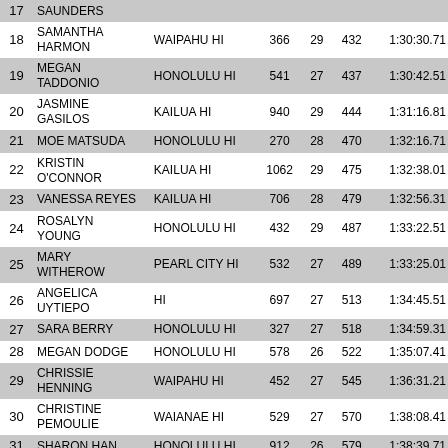| Place | Name | City | Bib | Age | OA | Time |
| --- | --- | --- | --- | --- | --- | --- |
| 17 | SAUNDERS |  |  |  |  |  |
| 18 | SAMANTHA HARMON | WAIPAHU HI | 366 | 29 | 432 | 1:30:30.71 |
| 19 | MEGAN TADDONIO | HONOLULU HI | 541 | 27 | 437 | 1:30:42.51 |
| 20 | JASMINE GASILOS | KAILUA HI | 940 | 29 | 444 | 1:31:16.81 |
| 21 | MOE MATSUDA | HONOLULU HI | 270 | 28 | 470 | 1:32:16.71 |
| 22 | KRISTIN O'CONNOR | KAILUA HI | 1062 | 29 | 475 | 1:32:38.01 |
| 23 | VANESSA REYES | KAILUA HI | 706 | 28 | 479 | 1:32:56.31 |
| 24 | ROSALYN YOUNG | HONOLULU HI | 432 | 29 | 487 | 1:33:22.51 |
| 25 | MARY WITHEROW | PEARL CITY HI | 532 | 27 | 489 | 1:33:25.01 |
| 26 | ANGELICA UYTIEPO | HI | 697 | 27 | 513 | 1:34:45.51 |
| 27 | SARA BERRY | HONOLULU HI | 327 | 27 | 518 | 1:34:59.31 |
| 28 | MEGAN DODGE | HONOLULU HI | 578 | 26 | 522 | 1:35:07.41 |
| 29 | CHRISSIE HENNING | WAIPAHU HI | 452 | 27 | 545 | 1:36:31.21 |
| 30 | CHRISTINE PEMOULIE | WAIANAE HI | 529 | 27 | 570 | 1:38:08.41 |
| 31 | SHARON HAN | HONOLULU HI | 912 | 26 | 579 | 1:38:39.71 |
| 32 | MICHELLE SERDENIA | EWA BEACH HI | 629 | 25 | 587 | 1:38:53.71 |
| 33 | TYQUITA RODRIGUEZ | MILILANI HI | 878 | 26 | 591 | 1:39:03.51 |